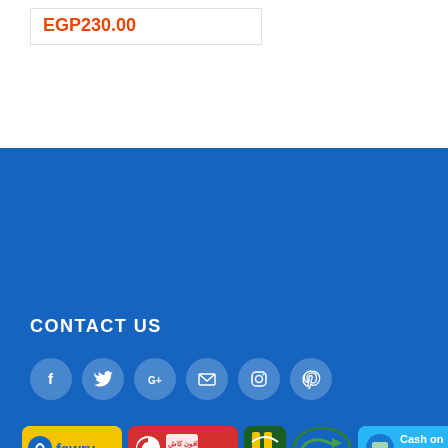EGP230.00
CONTACT US
[Figure (infographic): Social media icons: Facebook, Twitter, Google+, Email, Instagram, Pinterest in grey circles on blue background]
[Figure (infographic): Payment method logos: Fawry, Vodafone Cash, Instapay, Eco green arrow, Cash on Delivery]
[Figure (infographic): Delivery logos: Aramex delivery unlimited, Middle East Courier Services, delivery scooter icon]